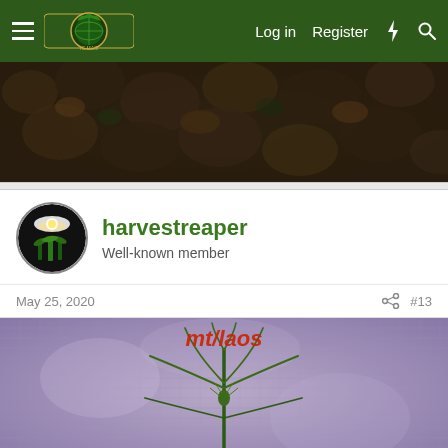Log in  Register
[Figure (photo): Close-up photo of cannabis buds/flowers, dark green and purple tones, used as a banner image]
harvestreaper
Well-known member
May 25, 2020  #13
[Figure (photo): Photo of a young cannabis seedling plant with narrow leaves against a purple/grey fabric background, watermarked with text 'mt/laos' in red italic font]